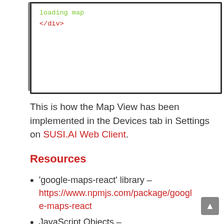[Figure (screenshot): A screenshot of a code editor showing HTML/JSX with green text 'loading map' and red text '</div>' on a white background inside a dark-bordered box.]
This is how the Map View has been implemented in the Devices tab in Settings on SUSI.AI Web Client.
Resources
'google-maps-react' library – https://www.npmjs.com/package/google-maps-react
JavaScript Objects – https://www.w3schools.com/js/js_objec